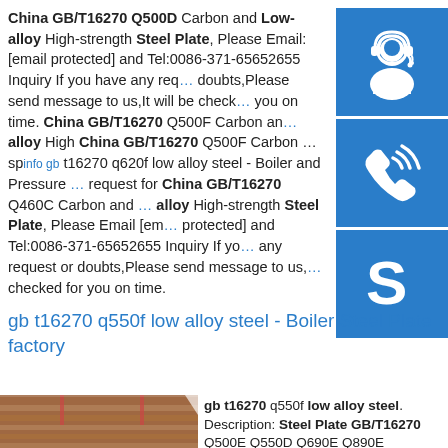China GB/T16270 Q500D Carbon and Low-alloy High-strength Steel Plate, Please Email:[email protected] and Tel:0086-371-65652655 Inquiry If you have any request or doubts,Please send message to us,It will be checked for you on time. China GB/T16270 Q500F Carbon and Low-alloy High China GB/T16270 Q500F Carbon …sp info gb t16270 q620f low alloy steel - Boiler and Pressure request for China GB/T16270 Q460C Carbon and Low-alloy High-strength Steel Plate, Please Email [email protected] and Tel:0086-371-65652655 Inquiry If you have any request or doubts,Please send message to us,It will be checked for you on time.
[Figure (infographic): Three blue square icons stacked vertically on the right side: customer service headset icon, phone/call icon, Skype icon]
gb t16270 q550f low alloy steel - Boiler Steel Plate factory
[Figure (photo): Photo of stacked steel plates, brownish/orange color, industrial setting]
gb t16270 q550f low alloy steel. Description: Steel Plate GB/T16270 Q500E Q550D Q690E Q890E